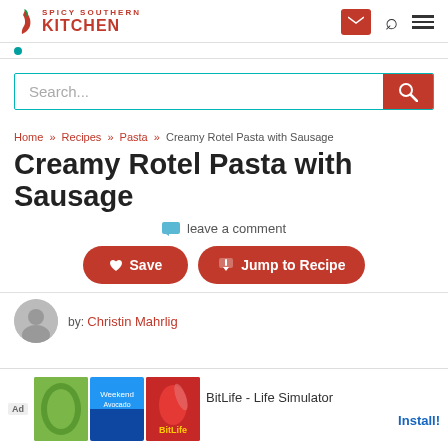Spicy Southern Kitchen
Search...
Home » Recipes » Pasta » Creamy Rotel Pasta with Sausage
Creamy Rotel Pasta with Sausage
leave a comment
Save   Jump to Recipe
by: Christin Mahrlig
[Figure (screenshot): Ad banner: BitLife - Life Simulator with Install button]